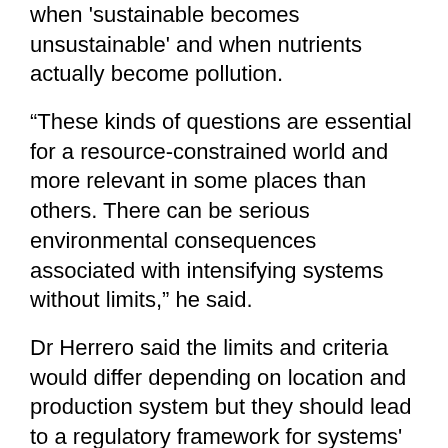when 'sustainable becomes unsustainable' and when nutrients actually become pollution.
“These kinds of questions are essential for a resource-constrained world and more relevant in some places than others. There can be serious environmental consequences associated with intensifying systems without limits,” he said.
Dr Herrero said the limits and criteria would differ depending on location and production system but they should lead to a regulatory framework for systems' intensification that could be applied at the local level.
[Figure (logo): Milwillah logo: black rectangle with a stylized M icon above the word MILWILLAH in white serif capitals]